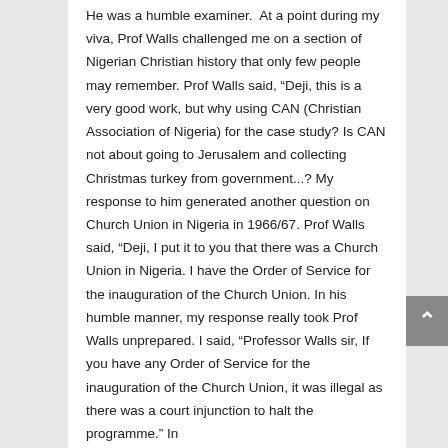He was a humble examiner.  At a point during my viva, Prof Walls challenged me on a section of Nigerian Christian history that only few people may remember. Prof Walls said, “Deji, this is a very good work, but why using CAN (Christian Association of Nigeria) for the case study? Is CAN not about going to Jerusalem and collecting Christmas turkey from government...? My response to him generated another question on Church Union in Nigeria in 1966/67. Prof Walls said, “Deji, I put it to you that there was a Church Union in Nigeria. I have the Order of Service for the inauguration of the Church Union. In his humble manner, my response really took Prof Walls unprepared. I said, “Professor Walls sir, If you have any Order of Service for the inauguration of the Church Union, it was illegal as there was a court injunction to halt the programme.” In